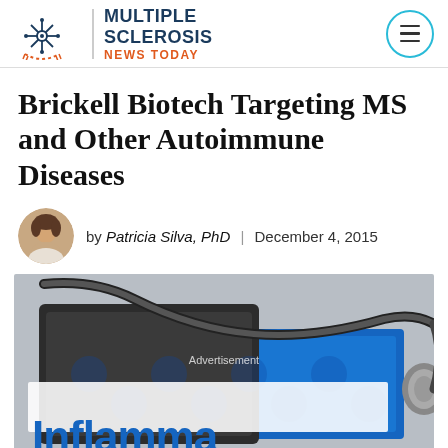Multiple Sclerosis News Today
Brickell Biotech Targeting MS and Other Autoimmune Diseases
by Patricia Silva, PhD | December 4, 2015
[Figure (photo): Photo of a stethoscope resting on a blue tablet/book with 'Inflammation' text visible, with a white advertisement overlay bar in the middle.]